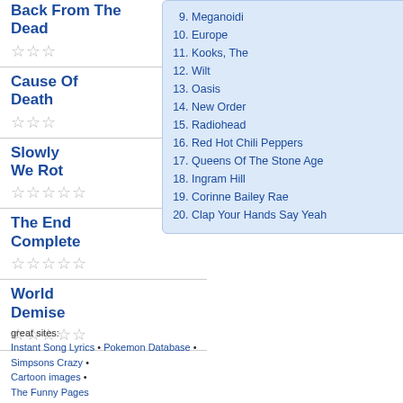9. Meganoidi
10. Europe
11. Kooks, The
12. Wilt
13. Oasis
14. New Order
15. Radiohead
16. Red Hot Chili Peppers
17. Queens Of The Stone Age
18. Ingram Hill
19. Corinne Bailey Rae
20. Clap Your Hands Say Yeah
Back From The Dead ☆☆☆
Cause Of Death ☆☆☆
Slowly We Rot ☆☆☆☆☆
The End Complete ☆☆☆☆☆
World Demise ☆☆☆☆☆
great sites:
Instant Song Lyrics • Pokemon Database •
Simpsons Crazy • Cartoon images •
The Funny Pages